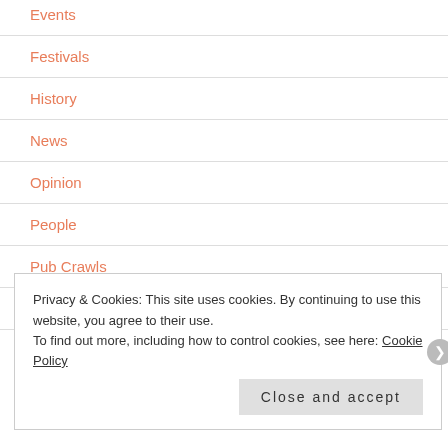Events
Festivals
History
News
Opinion
People
Pub Crawls
Reviews
Privacy & Cookies: This site uses cookies. By continuing to use this website, you agree to their use.
To find out more, including how to control cookies, see here: Cookie Policy
Close and accept